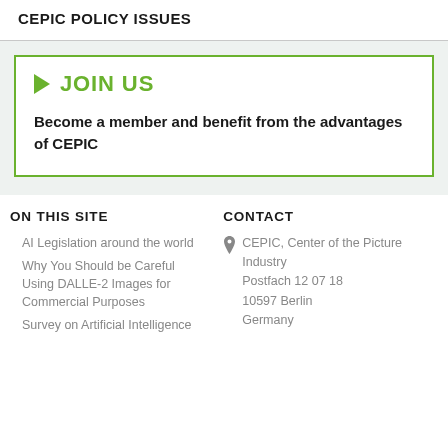CEPIC POLICY ISSUES
► JOIN US
Become a member and benefit from the advantages of CEPIC
ON THIS SITE
AI Legislation around the world
Why You Should be Careful Using DALLE-2 Images for Commercial Purposes
Survey on Artificial Intelligence
CONTACT
CEPIC, Center of the Picture Industry
Postfach 12 07 18
10597 Berlin
Germany